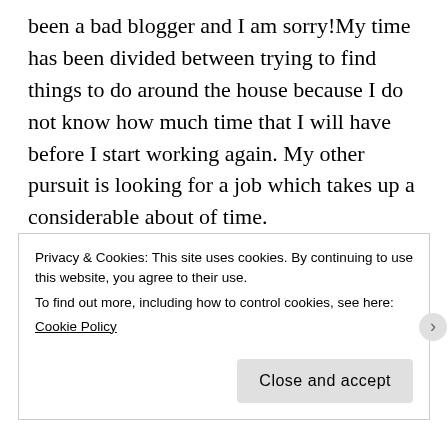been a bad blogger and I am sorry!My time has been divided between trying to find things to do around the house because I do not know how much time that I will have before I start working again. My other pursuit is looking for a job which takes up a considerable about of time.
This past weekend, the wife was sick with a bad cold which she has managed to pass along to me now. We had hoped to attend the first service of Passion City Church but did not make it. There is another service
Privacy & Cookies: This site uses cookies. By continuing to use this website, you agree to their use.
To find out more, including how to control cookies, see here:
Cookie Policy
[Close and accept]